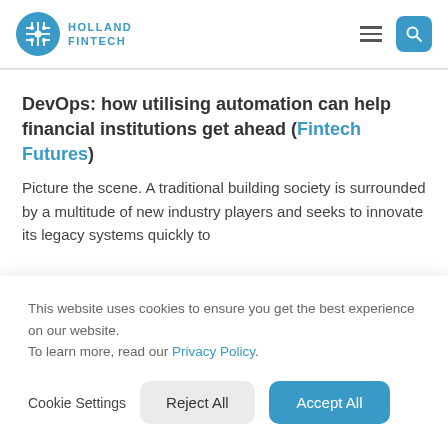Holland Fintech
DevOps: how utilising automation can help financial institutions get ahead (Fintech Futures)
Picture the scene. A traditional building society is surrounded by a multitude of new industry players and seeks to innovate its legacy systems quickly to
This website uses cookies to ensure you get the best experience on our website.
To learn more, read our Privacy Policy.
Cookie Settings  Reject All  Accept All